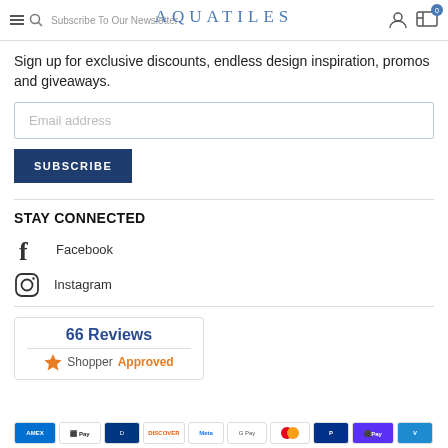Subscribe To Our Newsletter — AQUATILES
Subscribe To Our Newsletter
Sign up for exclusive discounts, endless design inspiration, promos and giveaways.
Email address
SUBSCRIBE
STAY CONNECTED
Facebook
Instagram
[Figure (logo): Shopper Approved badge: 66 Reviews with star icon]
[Figure (other): Payment method icons row: American Express, Apple Pay, Diners Club, Discover, Meta Pay, Google Pay, Mastercard, PayPal, Shop Pay, Venmo]